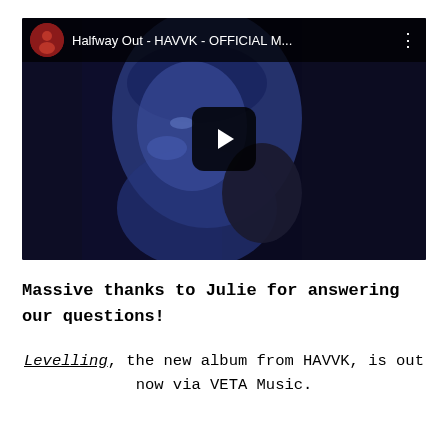[Figure (screenshot): YouTube video embed showing 'Halfway Out - HAVVK - OFFICIAL M...' with a woman holding a phone in a blue-tinted scene, play button overlay visible]
Massive thanks to Julie for answering our questions!
Levelling, the new album from HAVVK, is out now via VETA Music.